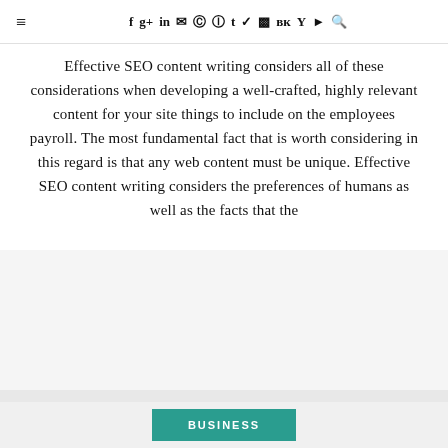≡  f  g+  in  ✉  ⓟ  ⓢ  t  🐦  ▣  вк  Y  ▶  🔍
Effective SEO content writing considers all of these considerations when developing a well-crafted, highly relevant content for your site things to include on the employees payroll. The most fundamental fact that is worth considering in this regard is that any web content must be unique. Effective SEO content writing considers the preferences of humans as well as the facts that the
BUSINESS